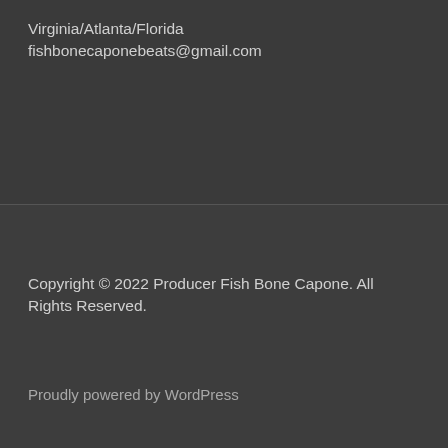Virginia/Atlanta/Florida
fishbonecaponebeats@gmail.com
Copyright © 2022 Producer Fish Bone Capone. All Rights Reserved.
Proudly powered by WordPress